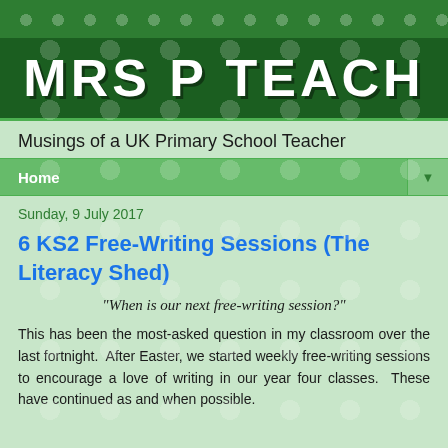MRS P TEACH
Musings of a UK Primary School Teacher
Home
Sunday, 9 July 2017
6 KS2 Free-Writing Sessions (The Literacy Shed)
"When is our next free-writing session?"
This has been the most-asked question in my classroom over the last fortnight.  After Easter, we started weekly free-writing sessions to encourage a love of writing in our year four classes.  These have continued as and when possible.